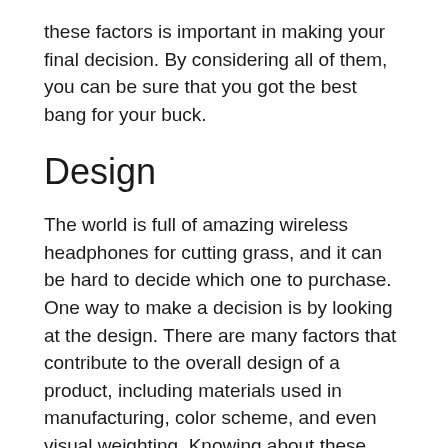these factors is important in making your final decision. By considering all of them, you can be sure that you got the best bang for your buck.
Design
The world is full of amazing wireless headphones for cutting grass, and it can be hard to decide which one to purchase. One way to make a decision is by looking at the design. There are many factors that contribute to the overall design of a product, including materials used in manufacturing, color scheme, and even visual weighting. Knowing about these things can help you find a product that suits your taste and needs perfectly.